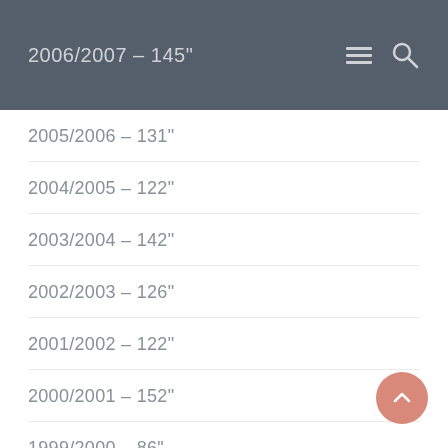2006/2007 – 145"
2005/2006 – 131"
2004/2005 – 122"
2003/2004 – 142"
2002/2003 – 126"
2001/2002 – 122"
2000/2001 – 152"
1999/2000 – 86"
1998/1999 – 98"